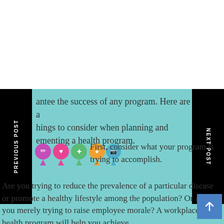antee the success of any program. Here are a hings to consider when planning and ementing a health program.
First, consider what your program is trying to accomplish. Are you trying to reduce the prevalence of a particular disease or promote a healthy lifestyle among the population? Or are you merely trying to raise employee morale? A workplace health program will help you achieve
PREVIOUS POST
NEXT POST